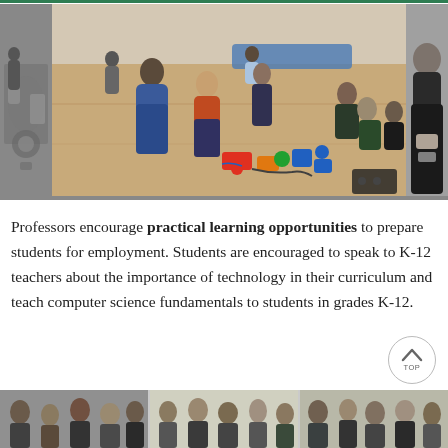[Figure (photo): Collage of three photos showing students and teachers working with robots/technology in a school gymnasium. Left strip shows black-and-white photo of equipment. Center large photo shows multiple students and instructors on a gym floor with colorful robotics components scattered around. Right strip shows a close-up of a student working.]
Professors encourage practical learning opportunities to prepare students for employment. Students are encouraged to speak to K-12 teachers about the importance of technology in their curriculum and teach computer science fundamentals to students in grades K-12.
[Figure (photo): Bottom partial photo showing a group of people (students/faculty) in what appears to be a classroom or meeting room setting.]